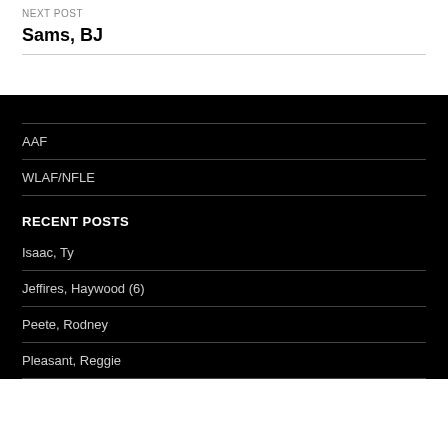NEXT POST
Sams, BJ
AAF
WLAF/NFLE
RECENT POSTS
Isaac, Ty
Jeffires, Haywood (6)
Peete, Rodney
Pleasant, Reggie